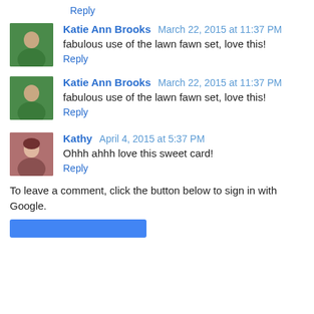Reply
[Figure (photo): Avatar of Katie Ann Brooks]
Katie Ann Brooks  March 22, 2015 at 11:37 PM
fabulous use of the lawn fawn set, love this!
Reply
[Figure (photo): Avatar of Katie Ann Brooks]
Katie Ann Brooks  March 22, 2015 at 11:37 PM
fabulous use of the lawn fawn set, love this!
Reply
[Figure (photo): Avatar of Kathy]
Kathy  April 4, 2015 at 5:37 PM
Ohhh ahhh love this sweet card!
Reply
To leave a comment, click the button below to sign in with Google.